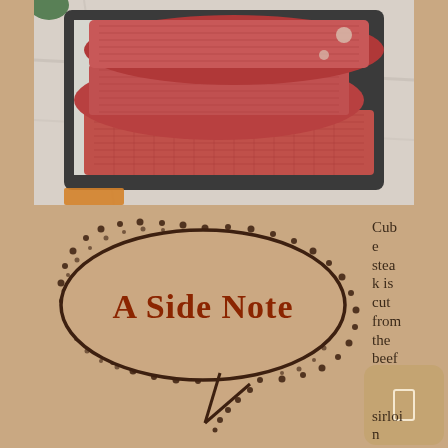[Figure (photo): Raw cube steaks on a dark tray on a marble countertop surface. The meat shows the characteristic tenderized/scored pattern of cube steak.]
[Figure (illustration): Speech bubble graphic with dotted/stippled dark brown border on a tan/beige background. Text inside reads 'A Side Note' in dark red serif font. Below the bubble is a small tail pointing down-left.]
Cube steak is cut from the beef
sirloi n